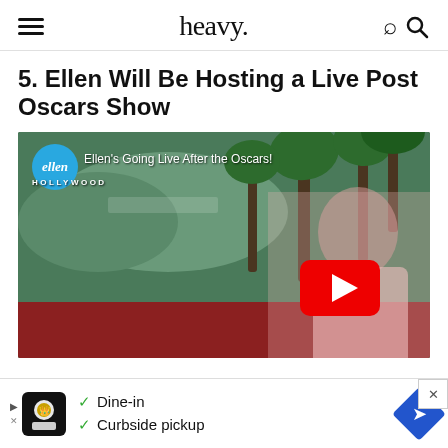heavy.
5. Ellen Will Be Hosting a Live Post Oscars Show
[Figure (screenshot): YouTube video thumbnail showing Ellen DeGeneres in a pink blazer standing in front of a Hollywood Hills backdrop with palm trees. The video is titled 'Ellen's Going Live After the Oscars!' and shows the ellen logo (blue circle), HOLLYWOOD text, and a YouTube play button overlay.]
[Figure (infographic): Advertisement banner showing a logo, checkmarks for 'Dine-in' and 'Curbside pickup', and a blue navigation diamond icon. Has close button top-right.]